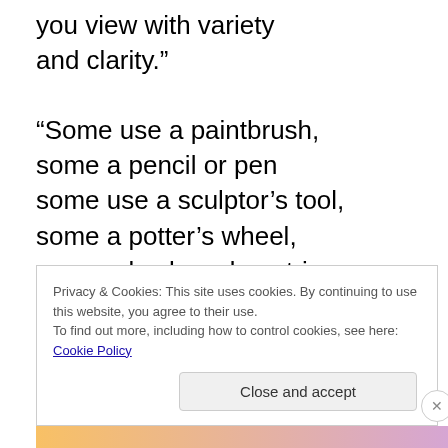you view with variety and clarity."

“Some use a paintbrush, some a pencil or pen some use a sculptor’s tool, some a potter’s wheel, some a keyboard or strings. Some see the world through a wide angle or a macro
Privacy & Cookies: This site uses cookies. By continuing to use this website, you agree to their use.
To find out more, including how to control cookies, see here: Cookie Policy
Close and accept